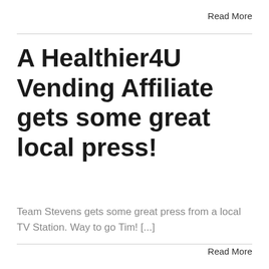Read More
A Healthier4U Vending Affiliate gets some great local press!
Team Stevens gets some great press from a local TV Station. Way to go Tim! [...]
Read More